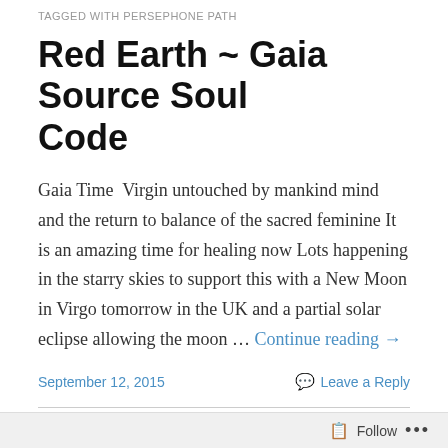TAGGED WITH PERSEPHONE PATH
Red Earth ~ Gaia Source Soul Code
Gaia Time  Virgin untouched by mankind mind   and the return to balance of the sacred feminine It is an amazing time for healing now Lots happening in the starry skies to support this with a New Moon in Virgo tomorrow in the UK and a partial solar eclipse allowing the moon … Continue reading →
September 12, 2015    Leave a Reply
Blue Eagle Wavespell ~ the key to the mystery